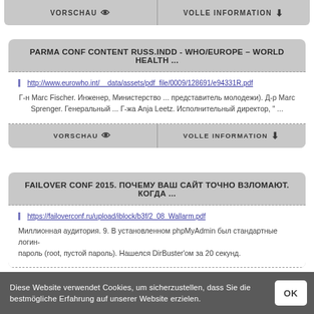VORSCHAU | VOLLE INFORMATION
PARMA CONF CONTENT RUSS.INDD - WHO/EUROPE - WORLD HEALTH ...
http://www.eurowho.int/__data/assets/pdf_file/0009/128691/e94331R.pdf
Г-н Marc Fischer. Инженер, Министерство ... представитель молодежи). Д-р Marc Sprenger. Генеральный ... Г-жа Anja Leetz. Исполнительный директор, " ...
VORSCHAU | VOLLE INFORMATION
FAILOVER CONF 2015. ПОЧЕМУ ВАШ САЙТ ТОЧНО ВЗЛОМАЮТ. КОГДА ...
https://failoverconf.ru/upload/iblock/b3f/2_08_Wallarm.pdf
Миллионная аудитория. 9. В установленном phpMyAdmin был стандартные логин-пароль (root, пустой пароль). Нашелся DirBuster'ом за 20 секунд.
Diese Website verwendet Cookies, um sicherzustellen, dass Sie die bestmögliche Erfahrung auf unserer Website erzielen.